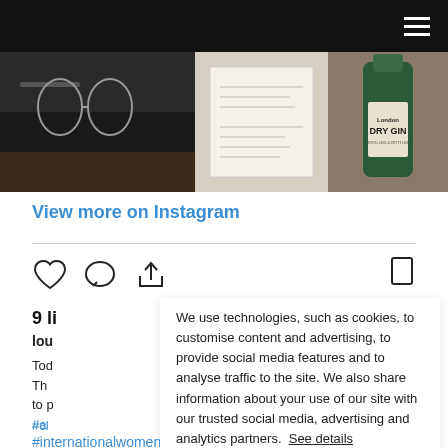Navigation bar with hamburger menu
[Figure (photo): Instagram photo strip showing three images: left - dark bar/counter with glasses, center - document/card with text, right - London Dry Gin bottle]
View more on Instagram
[Figure (infographic): Social interaction icons: heart (like), comment bubble, share/upload arrow, and bookmark icon]
9 li
lou
Tod
Th
to p
#a
#cl
#internationalwomensday
#ira...l2021
We use technologies, such as cookies, to customise content and advertising, to provide social media features and to analyse traffic to the site. We also share information about your use of our site with our trusted social media, advertising and analytics partners. See details
Accept